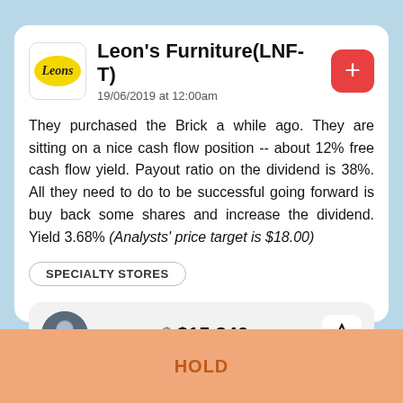Leon's Furniture (LNF-T)
19/06/2019 at 12:00am
They purchased the Brick a while ago. They are sitting on a nice cash flow position -- about 12% free cash flow yield. Payout ratio on the dividend is 38%. All they need to do to be successful going forward is buy back some shares and increase the dividend. Yield 3.68% (Analysts' price target is $18.00)
SPECIALTY STORES
$ $15.340
HOLD